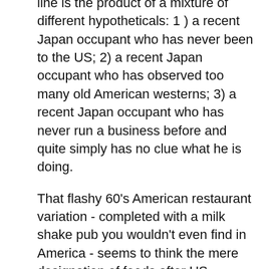line is the product of a mixture of different hypotheticals: 1) a recent Japan occupant who has never been to the US; 2) a recent Japan occupant who has observed too many old American westerns; 3) a recent Japan occupant who has never run a business before and quite simply has no clue what he is doing.
That flashy 60's American restaurant variation - completed with a milk shake pub you wouldn't even find in America - seems to think the mere designation of foods after US restaurants somehow authentifies it. In this spirit you should definitely try the New York way New York way Beefburgers, Chicago way Chicago way Hogs, Texas way BBQ Chickenburger or Cajun way Chickens.
Most authentic American thing in this place? Unfortunately, this place has nothing to do with Captain America or any of our favourite heroes. It' s a hilarious extensive meal, and - with meals like a houndog soaked in custard and peppers (called the PizzaDog of course) - it seems a spoof of what the Irish must think Americans are eating.
Fresh teas are supplied with free fillings, self made frankfurters,